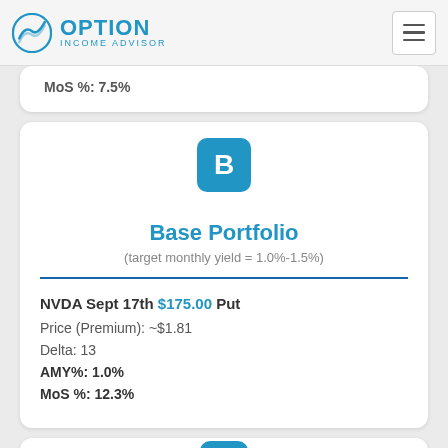OPTION INCOME ADVISOR
MoS %: 7.5%
Base Portfolio
(target monthly yield = 1.0%-1.5%)
NVDA Sept 17th $175.00 Put
Price (Premium):  ~$1.81
Delta:  13
AMY%:  1.0%
MoS %:  12.3%
[Figure (logo): Letter C badge icon for next portfolio section]